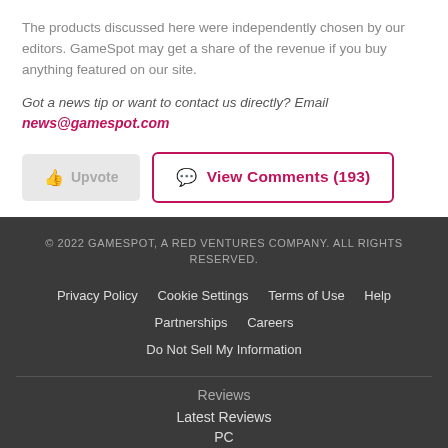The products discussed here were independently chosen by our editors. GameSpot may get a share of the revenue if you buy anything featured on our site.
Got a news tip or want to contact us directly? Email news@gamespot.com
👍 Upvote
💬 View Comments (193)
© 2022 GAMESPOT, A RED VENTURES COMPANY. ALL RIGHTS RESERVED.
Privacy Policy  Cookie Settings  Terms of Use  Help
Partnerships  Careers
Do Not Sell My Information
Reviews
Latest Reviews
PC